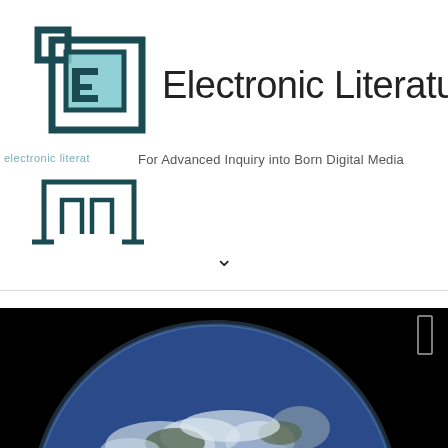[Figure (logo): Electronic Literature Lab logo: nested square brackets with teal filled square, forming stylized ELL monogram]
Electronic Literature Lab
For Advanced Inquiry into Born Digital Media
[Figure (logo): ELL bottom logo: square bracket frame with two upward bracket shapes inside, outline style in dark teal]
[Figure (photo): Photograph of Earth from space against black background, showing blue oceans, white clouds, and landmasses, with a small white rectangular scroll indicator in upper right corner]